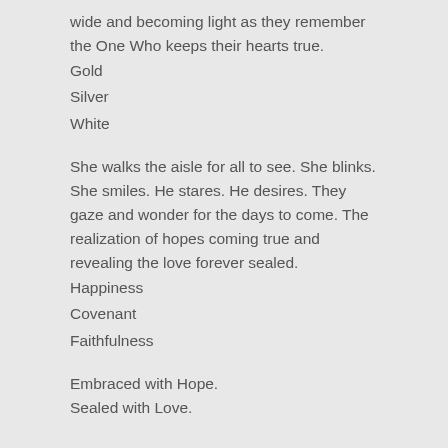wide and becoming light as they remember the One Who keeps their hearts true.
Gold
Silver
White
She walks the aisle for all to see. She blinks. She smiles. He stares. He desires. They gaze and wonder for the days to come. The realization of hopes coming true and revealing the love forever sealed.
Happiness
Covenant
Faithfulness
Embraced with Hope.
Sealed with Love.